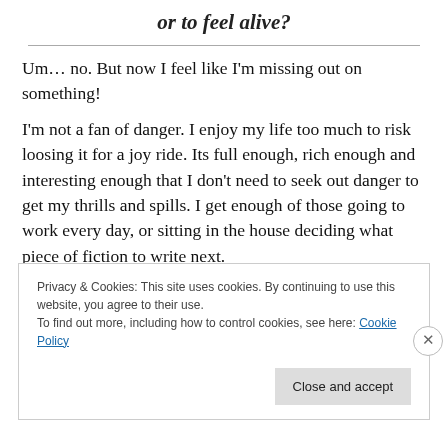or to feel alive?
Um… no. But now I feel like I'm missing out on something!
I'm not a fan of danger. I enjoy my life too much to risk loosing it for a joy ride. Its full enough, rich enough and interesting enough that I don't need to seek out danger to get my thrills and spills. I get enough of those going to work every day, or sitting in the house deciding what piece of fiction to write next.
Privacy & Cookies: This site uses cookies. By continuing to use this website, you agree to their use.
To find out more, including how to control cookies, see here: Cookie Policy
Close and accept